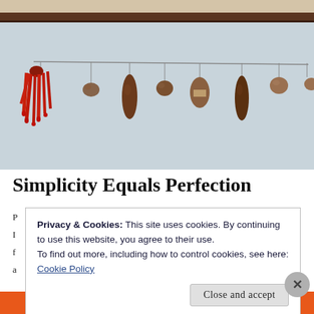[Figure (photo): Kitchen shelf with hanging dried foods and red chili peppers strung on a wire beneath a wooden shelf, against a light blue-gray wall.]
Simplicity Equals Perfection
P
I
f
a
Privacy & Cookies: This site uses cookies. By continuing to use this website, you agree to their use.
To find out more, including how to control cookies, see here: Cookie Policy
Close and accept
Search, browse, and email